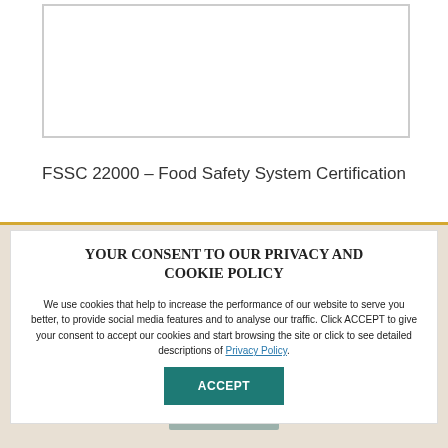[Figure (other): White bordered rectangle box, partial screenshot of a website page]
FSSC 22000 – Food Safety System Certification
YOUR CONSENT TO OUR PRIVACY AND COOKIE POLICY
We use cookies that help to increase the performance of our website to serve you better, to provide social media features and to analyse our traffic. Click ACCEPT to give your consent to accept our cookies and start browsing the site or click to see detailed descriptions of Privacy Policy.
ACCEPT